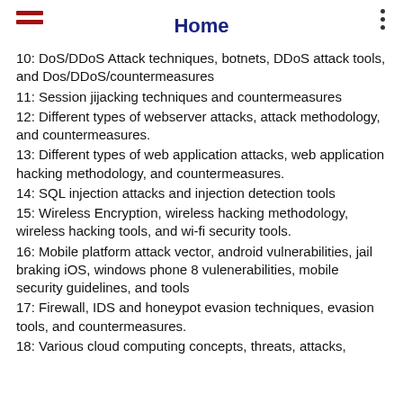Home
10:  DoS/DDoS Attack techniques, botnets, DDoS attack tools, and Dos/DDoS/countermeasures
11:  Session jijacking techniques and countermeasures
12:  Different types of webserver attacks, attack methodology, and countermeasures.
13:  Different types of web application attacks, web application hacking methodology, and countermeasures.
14:  SQL injection attacks and injection detection tools
15:  Wireless Encryption, wireless hacking methodology, wireless hacking tools, and wi-fi security tools.
16:  Mobile platform attack vector, android vulnerabilities, jail braking iOS, windows phone 8 vulenerabilities, mobile security guidelines, and tools
17:  Firewall, IDS and honeypot evasion techniques, evasion tools, and countermeasures.
18:  Various cloud computing concepts, threats, attacks,